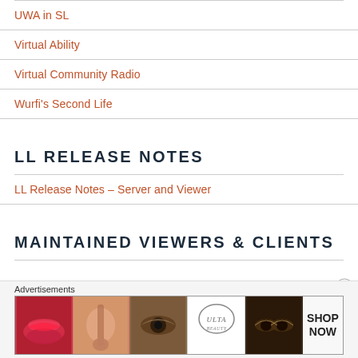UWA in SL
Virtual Ability
Virtual Community Radio
Wurfi's Second Life
LL RELEASE NOTES
LL Release Notes – Server and Viewer
MAINTAINED VIEWERS & CLIENTS
Advertisements
[Figure (photo): Ulta Beauty advertisement banner showing cosmetics/makeup imagery with SHOP NOW call to action]